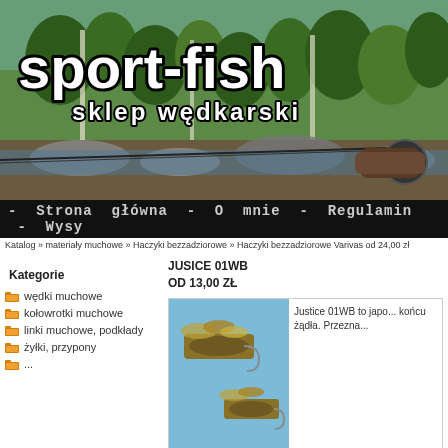[Figure (photo): Sport-fish sklep wędkarski banner with fly fishing rod and reel against green forest and river landscape background]
sport-fish sklep wędkarski
- Strona główna - O mnie - Regulamin - Wysy...
Katalog » materiały muchowe » Haczyki bezzadziorowe » Haczyki bezzadziorowe Varivas od 24,00 zł
Kategorie
wędki muchowe
kołowrotki muchowe
linki muchowe, podkłady
żyłki, przypony
JUSICE 01WB
OD 13,00 ZŁ
Justice 01WB to japo... końcu żądła. Przezna...